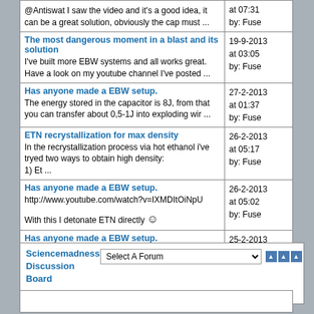| Content | Date |
| --- | --- |
| @Antiswat I saw the video and it's a good idea, it can be a great solution, obviously the cap must ... | at 07:31
by: Fuse |
| The most dangerous moment in a blast and its solution
I've built more EBW systems and all works great. Have a look on my youtube channel I've posted ... | 19-9-2013
at 03:05
by: Fuse |
| Has anyone made a EBW setup.
The energy stored in the capacitor is 8J, from that you can transfer about 0,5-1J into exploding wir ... | 27-2-2013
at 01:37
by: Fuse |
| ETN recrystallization for max density
In the recrystallization process via hot ethanol i've tryed two ways to obtain high density:
1) Et ... | 26-2-2013
at 05:17
by: Fuse |
| Has anyone made a EBW setup.
http://www.youtube.com/watch?v=IXMDItOiNpU

With this I detonate ETN directly 😊 | 26-2-2013
at 05:02
by: Fuse |
| Has anyone made a EBW setup.
I've built one, some videos posted on youtube with "Freepatentsonline" nick. | 25-2-2013
at 06:45
by: Fuse |
Sciencemadness Discussion Board » Search | Select A Forum